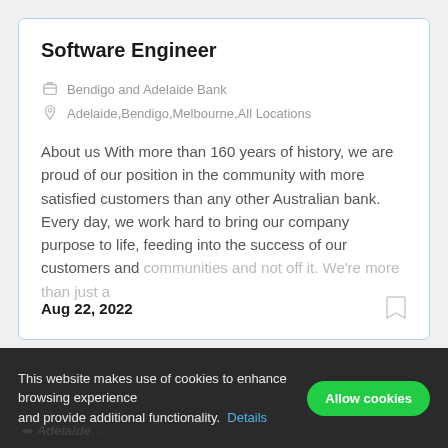Software Engineer
Bendigo and Adelaide Bank
Adelaide,Bendigo,Melbourne,All Locations
About us With more than 160 years of history, we are proud of our position in the community with more satisfied customers than any other Australian bank. Every day, we work hard to bring our company purpose to life, feeding into the success of our customers and communities and not off it. We're more than just a
Aug 22, 2022
This website makes use of cookies to enhance browsing experience and provide additional functionality. Details
Allow cookies